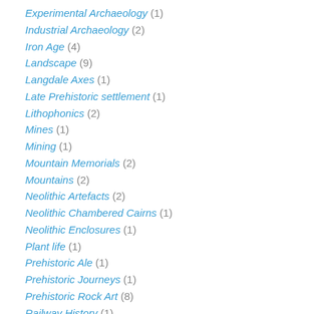Experimental Archaeology (1)
Industrial Archaeology (2)
Iron Age (4)
Landscape (9)
Langdale Axes (1)
Late Prehistoric settlement (1)
Lithophonics (2)
Mines (1)
Mining (1)
Mountain Memorials (2)
Mountains (2)
Neolithic Artefacts (2)
Neolithic Chambered Cairns (1)
Neolithic Enclosures (1)
Plant life (1)
Prehistoric Ale (1)
Prehistoric Journeys (1)
Prehistoric Rock Art (8)
Railway History (1)
Ring Cairns (2)